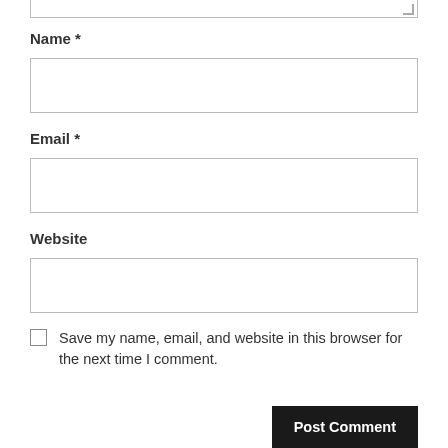[textarea top edge]
Name *
[Figure (other): Empty Name input field]
Email *
[Figure (other): Empty Email input field]
Website
[Figure (other): Empty Website input field]
Save my name, email, and website in this browser for the next time I comment.
Post Comment